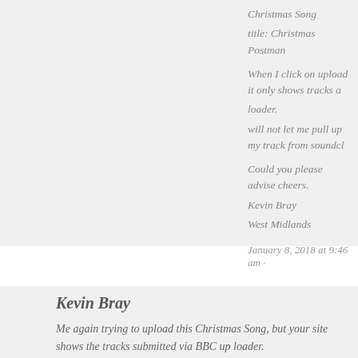Christmas Song
title: Christmas Postman

When I click on upload it only shows tracks a... loader.
will not let me pull up my track from soundcl...

Could you please advise cheers.
Kevin Bray
West Midlands
January 8, 2018 at 9:46 am ·
Kevin Bray
Me again trying to upload this Christmas Song, but your site shows the tracks submitted via BBC up loader.

My Song (Christmas Postman) is loaded on my soundcloud

https://soundcloud.com/kevbray1/Christmas-Postman/s-10...